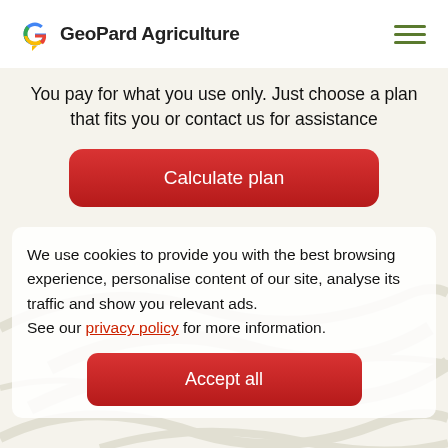GeoPard Agriculture
You pay for what you use only. Just choose a plan that fits you or contact us for assistance
[Figure (other): Red rounded button labeled 'Calculate plan']
We use cookies to provide you with the best browsing experience, personalise content of our site, analyse its traffic and show you relevant ads.
See our privacy policy for more information.
[Figure (other): Red rounded button labeled 'Accept all']